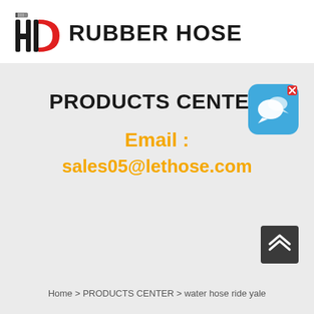[Figure (logo): HD Rubber Hose logo with stylized H and D letters, red D shape and black H with hose graphic, followed by bold text RUBBER HOSE]
PRODUCTS CENTER
Email : sales05@lethose.com
Home > PRODUCTS CENTER > water hose ride yale
[Figure (illustration): Blue chat/messaging app icon with speech bubble, with small x close button]
[Figure (illustration): Dark grey scroll-to-top button with double chevron up arrows]